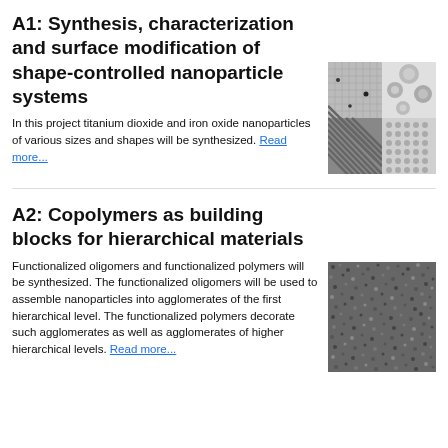A1: Synthesis, characterization and surface modification of shape-controlled nanoparticle systems
In this project titanium dioxide and iron oxide nanoparticles of various sizes and shapes will be synthesized. Read more...
[Figure (photo): Electron microscopy image showing nanoparticles of various shapes and sizes, including striped, dotted, and grid-like patterns in grayscale]
A2: Copolymers as building blocks for hierarchical materials
Functionalized oligomers and functionalized polymers will be synthesized. The functionalized oligomers will be used to assemble nanoparticles into agglomerates of the first hierarchical level. The functionalized polymers decorate such agglomerates as well as agglomerates of higher hierarchical levels. Read more...
[Figure (photo): Electron microscopy image showing a dense, granular nanoparticle assembly with uniform dark texture]